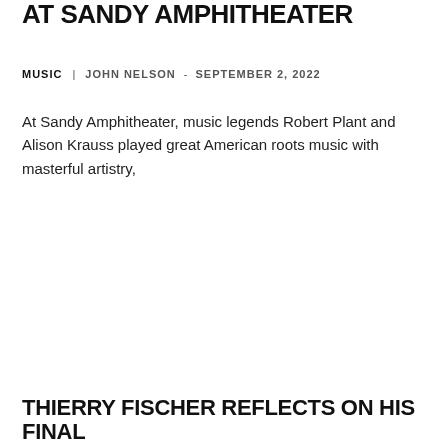AT SANDY AMPHITHEATER
MUSIC  |  JOHN NELSON  -  SEPTEMBER 2, 2022
At Sandy Amphitheater, music legends Robert Plant and Alison Krauss played great American roots music with masterful artistry,
THIERRY FISCHER REFLECTS ON HIS FINAL